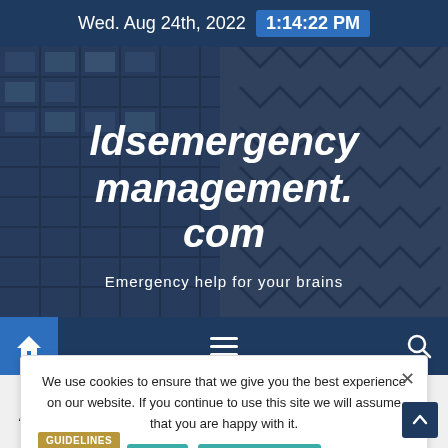Wed. Aug 24th, 2022  1:14:22 PM
[Figure (screenshot): Website hero banner showing ldsemergencymanagement.com with tagline 'Emergency help for your brains' over a skyscraper background image]
ldsemergencymanagement.com
Emergency help for your brains
[Figure (screenshot): Navigation bar with home icon, hamburger menu, and search icon on dark blue background]
We use cookies to ensure that we give you the best experience on our website. If you continue to use this site we will assume that you are happy with it.
GUIDELINES
Are New Zealand